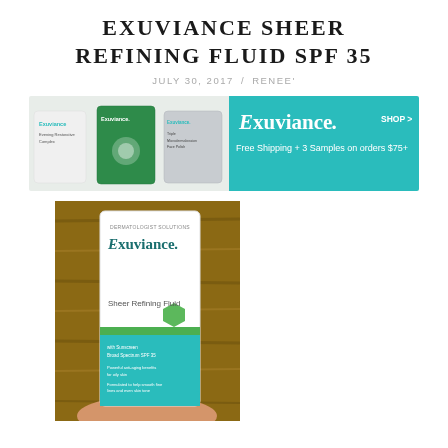EXUVIANCE SHEER REFINING FLUID SPF 35
JULY 30, 2017 / RENEE'
[Figure (photo): Exuviance brand advertisement banner showing multiple skincare products on left and teal background on right with text: Exuviance. SHOP > Free Shipping + 3 Samples on orders $75+]
[Figure (photo): Hand holding an Exuviance Sheer Refining Fluid SPF 35 product box with teal bottom, white top, green hexagon logo, against a wooden background]